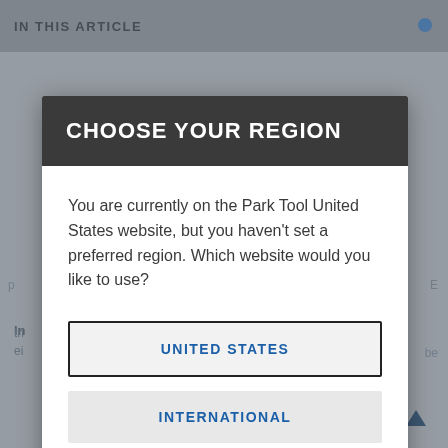IN THIS ARTICLE
CHOOSE YOUR REGION
You are currently on the Park Tool United States website, but you haven't set a preferred region. Which website would you like to use?
UNITED STATES
INTERNATIONAL